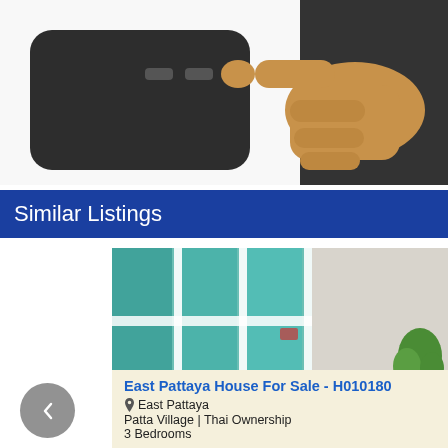[Figure (illustration): Illustration of a hand holding or tapping a dark device/remote control, with a light background]
Similar Listings
[Figure (photo): Photo of a house interior/exterior showing white-framed windows with teal/green curtains and a plant visible on the right]
East Pattaya House For Sale - H010180
East Pattaya
Patta Village | Thai Ownership
3 Bedrooms